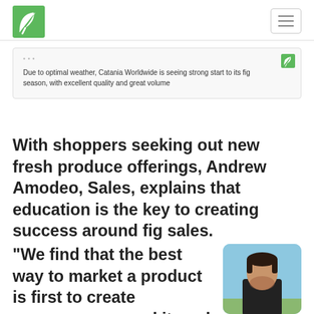Catania Worldwide logo and navigation
Due to optimal weather, Catania Worldwide is seeing strong start to its fig season, with excellent quality and great volume
With shoppers seeking out new fresh produce offerings, Andrew Amodeo, Sales, explains that education is the key to creating success around fig sales.
“We find that the best way to market a product is first to create awareness around it, and a lot of people are still unaware of what a fig is and how to eat it.” shares
[Figure (photo): Headshot photo of Andrew Amodeo, a man with dark hair and beard wearing a black shirt, outdoors with blue sky background]